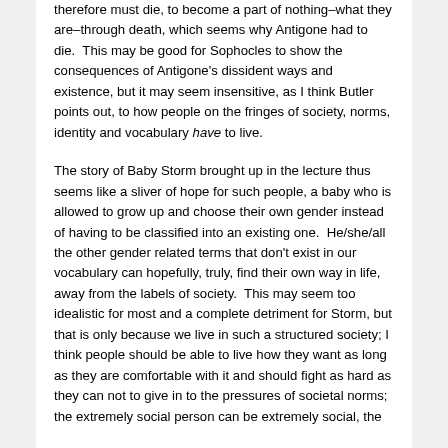therefore must die, to become a part of nothing–what they are–through death, which seems why Antigone had to die.  This may be good for Sophocles to show the consequences of Antigone's dissident ways and existence, but it may seem insensitive, as I think Butler points out, to how people on the fringes of society, norms, identity and vocabulary have to live.
The story of Baby Storm brought up in the lecture thus seems like a sliver of hope for such people, a baby who is allowed to grow up and choose their own gender instead of having to be classified into an existing one.  He/she/all the other gender related terms that don't exist in our vocabulary can hopefully, truly, find their own way in life, away from the labels of society.  This may seem too idealistic for most and a complete detriment for Storm, but that is only because we live in such a structured society; I think people should be able to live how they want as long as they are comfortable with it and should fight as hard as they can not to give in to the pressures of societal norms; the extremely social person can be extremely social, the